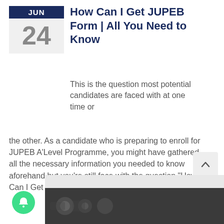JUN 24
How Can I Get JUPEB Form | All You Need to Know
This is the question most potential candidates are faced with at one time or the other. As a candidate who is preparing to enroll for JUPEB A'Level Programme, you might have gathered all the necessary information you needed to know aforehand but you’re still face with the question “How Can I Get JUPEB Form?”.
Share this:
Twitter
Facebook
WhatsApp